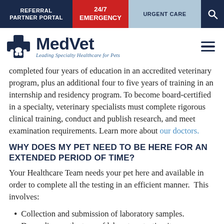REFERRAL PARTNER PORTAL | 24/7 EMERGENCY | URGENT CARE
[Figure (logo): MedVet logo with cross icon and tagline 'Leading Specialty Healthcare for Pets']
completed four years of education in an accredited veterinary program, plus an additional four to five years of training in an internship and residency program. To become board-certified in a specialty, veterinary specialists must complete rigorous clinical training, conduct and publish research, and meet examination requirements. Learn more about our doctors.
WHY DOES MY PET NEED TO BE HERE FOR AN EXTENDED PERIOD OF TIME?
Your Healthcare Team needs your pet here and available in order to complete all the testing in an efficient manner.  This involves:
Collection and submission of laboratory samples. Depending on the type of laboratory testing it